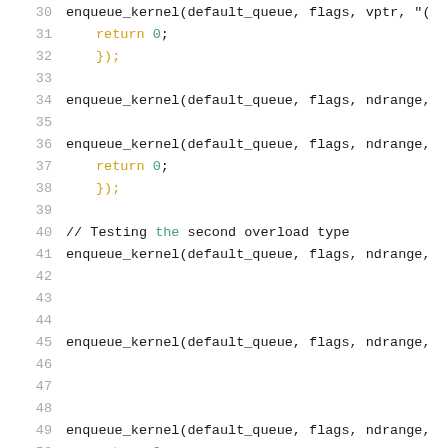[Figure (screenshot): Source code listing showing lines 30-51 of a C/OpenCL program with enqueue_kernel calls, return statements, and comments. Line numbers shown in gray on the left margin.]